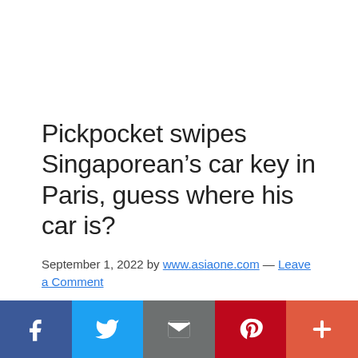Pickpocket swipes Singaporean’s car key in Paris, guess where his car is?
September 1, 2022 by www.asiaone.com — Leave a Comment
Travelling is all fun and games until someone sneaks up behind you and